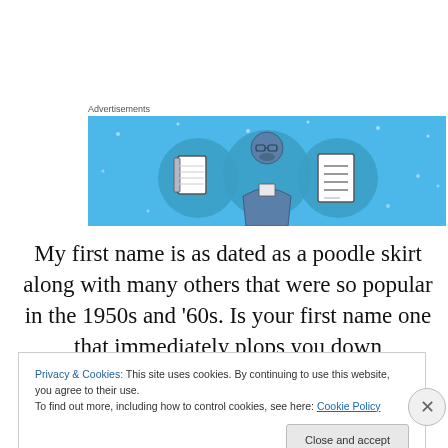Advertisements
[Figure (illustration): Advertisement banner with light blue background showing three circular icons: a notebook, a person reading, and a lined document. Flat illustration style.]
My first name is as dated as a poodle skirt along with many others that were so popular in the 1950s and '60s. Is your first name one that immediately plops you down
Privacy & Cookies: This site uses cookies. By continuing to use this website, you agree to their use.
To find out more, including how to control cookies, see here: Cookie Policy
Close and accept